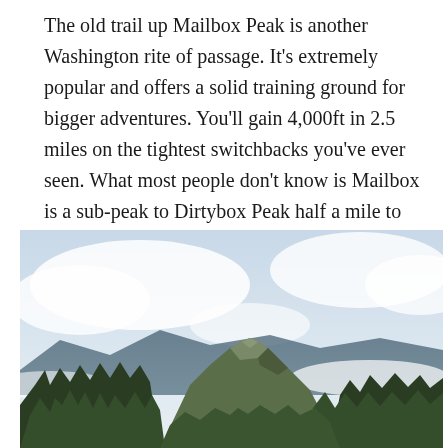The old trail up Mailbox Peak is another Washington rite of passage. It's extremely popular and offers a solid training ground for bigger adventures. You'll gain 4,000ft in 2.5 miles on the tightest switchbacks you've ever seen. What most people don't know is Mailbox is a sub-peak to Dirtybox Peak half a mile to the east. The short addition is must!
[Figure (photo): Mountain peak with evergreen trees in the foreground, rocky summit in the center, and cloudy sky with mountains in the background. The peak is green with conifers on its slopes.]